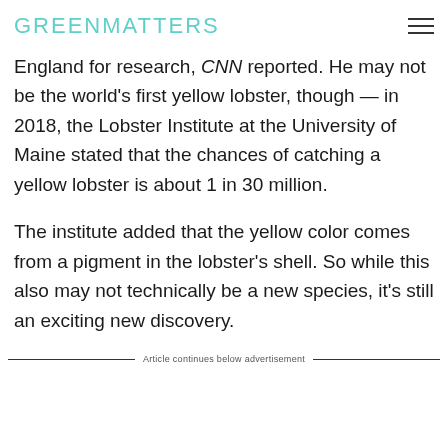GREENMATTERS
England for research, CNN reported. He may not be the world's first yellow lobster, though — in 2018, the Lobster Institute at the University of Maine stated that the chances of catching a yellow lobster is about 1 in 30 million.
The institute added that the yellow color comes from a pigment in the lobster's shell. So while this also may not technically be a new species, it's still an exciting new discovery.
Article continues below advertisement